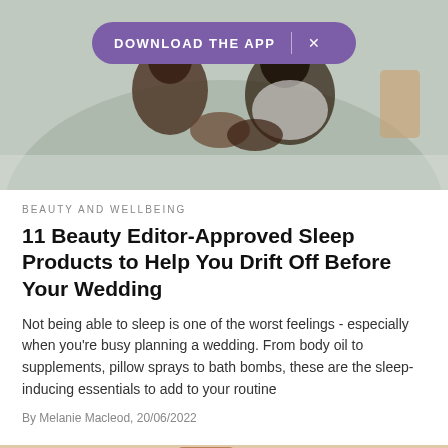[Figure (photo): Photo of people lying in bed, overlaid with a purple 'Download the App' banner with an X close button]
BEAUTY AND WELLBEING
11 Beauty Editor-Approved Sleep Products to Help You Drift Off Before Your Wedding
Not being able to sleep is one of the worst feelings - especially when you're busy planning a wedding. From body oil to supplements, pillow sprays to bath bombs, these are the sleep-inducing essentials to add to your routine
By Melanie Macleod, 20/06/2022
[Figure (photo): Photo of beauty/sleep product bottles in rose gold/copper tones, partially visible at bottom of page]